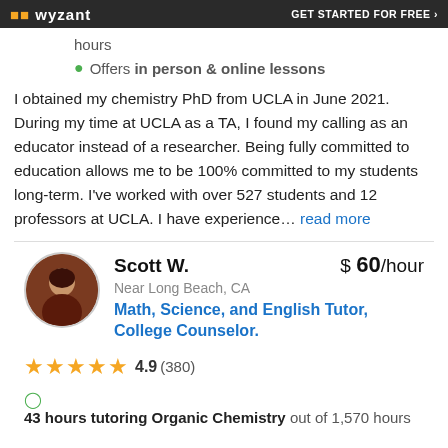Wyzant — GET STARTED FOR FREE
hours
Offers in person & online lessons
I obtained my chemistry PhD from UCLA in June 2021. During my time at UCLA as a TA, I found my calling as an educator instead of a researcher. Being fully committed to education allows me to be 100% committed to my students long-term. I've worked with over 527 students and 12 professors at UCLA. I have experience… read more
Scott W.
Near Long Beach, CA
Math, Science, and English Tutor, College Counselor.
4.9 (380)
43 hours tutoring Organic Chemistry out of 1,570 hours
$60/hour